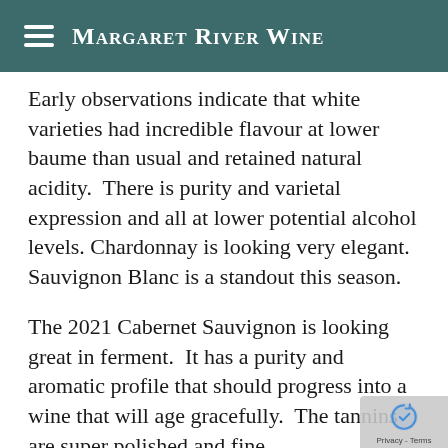Margaret River Wine
Early observations indicate that white varieties had incredible flavour at lower baume than usual and retained natural acidity.  There is purity and varietal expression and all at lower potential alcohol levels. Chardonnay is looking very elegant.  Sauvignon Blanc is a standout this season.
The 2021 Cabernet Sauvignon is looking great in ferment.  It has a purity and aromatic profile that should progress into a wine that will age gracefully.  The tannins are super polished and fine.